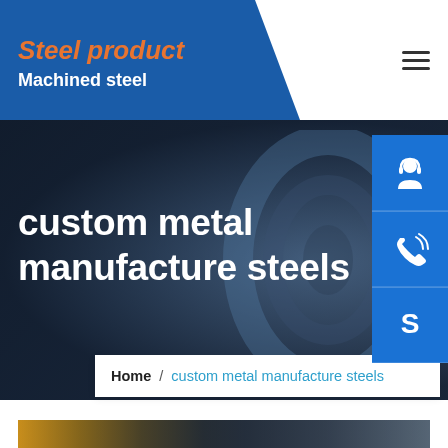Steel product / Machined steel
custom metal manufacture steels
[Figure (screenshot): Three blue sidebar action buttons: customer support (headset icon), phone/call icon, and Skype icon]
Home / custom metal manufacture steels
[Figure (photo): Industrial steel manufacturing facility, partially visible at bottom of page]